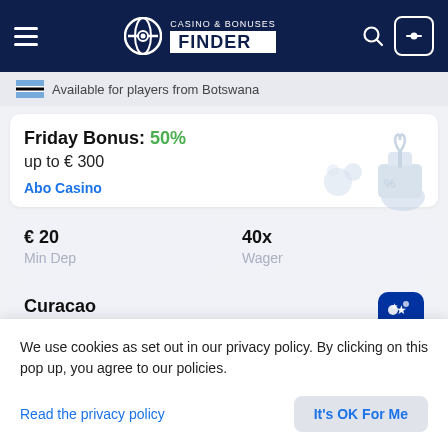[Figure (screenshot): Casino & Bonuses Finder website header with dark navy background, hamburger menu, logo, search and user icons]
Available for players from Botswana
Friday Bonus: 50% up to € 300
Abo Casino
€ 20
Min Dep
40x
Wager
Curacao
License
We use cookies as set out in our privacy policy. By clicking on this pop up, you agree to our policies.
Read the privacy policy
It's OK For Me